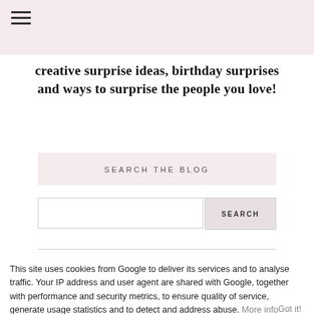creative surprise ideas, birthday surprises and ways to surprise the people you love!
SEARCH THE BLOG
SEARCH
This site uses cookies from Google to deliver its services and to analyse traffic. Your IP address and user agent are shared with Google, together with performance and security metrics, to ensure quality of service, generate usage statistics and to detect and address abuse. More info
Got it!